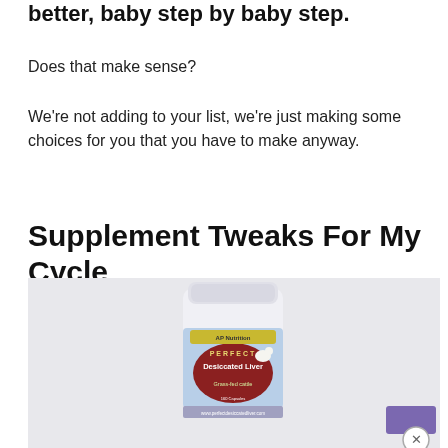better, baby step by baby step.
Does that make sense?
We're not adding to your list, we're just making some choices for you that you have to make anyway.
Supplement Tweaks For My Cycle
[Figure (photo): A white supplement bottle with label reading 'PERFECT Desiccated Liver, Grass-fed cattle' by AP Nutrition, shown against a light gray/white background. The bottle has a white cap and blue label with a red circular logo area featuring a cow illustration.]